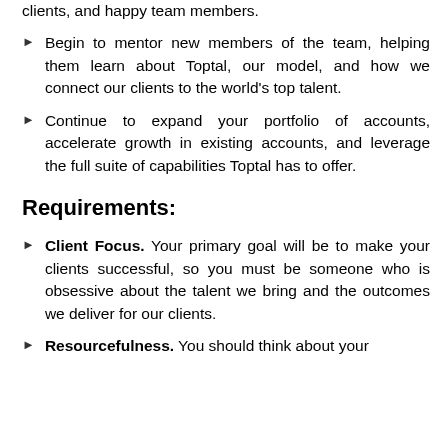clients, and happy team members.
Begin to mentor new members of the team, helping them learn about Toptal, our model, and how we connect our clients to the world's top talent.
Continue to expand your portfolio of accounts, accelerate growth in existing accounts, and leverage the full suite of capabilities Toptal has to offer.
Requirements:
Client Focus. Your primary goal will be to make your clients successful, so you must be someone who is obsessive about the talent we bring and the outcomes we deliver for our clients.
Resourcefulness. You should think about your